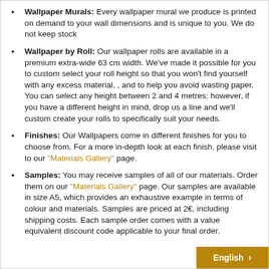Wallpaper Murals: Every wallpaper mural we produce is printed on demand to your wall dimensions and is unique to you. We do not keep stock
Wallpaper by Roll: Our wallpaper rolls are available in a premium extra-wide 63 cm width. We've made it possible for you to custom select your roll height so that you won't find yourself with any excess material, , and to help you avoid wasting paper. You can select any height between 2 and 4 metres; however, if you have a different height in mind, drop us a line and we'll custom create your rolls to specifically suit your needs.
Finishes: Our Wallpapers come in different finishes for you to choose from. For a more in-depth look at each finish, please visit to our "Materials Gallery" page.
Samples: You may receive samples of all of our materials. Order them on our "Materials Gallery" page. Our samples are available in size A5, which provides an exhaustive example in terms of colour and materials. Samples are priced at 2€, including shipping costs. Each sample order comes with a value equivalent discount code applicable to your final order.
English